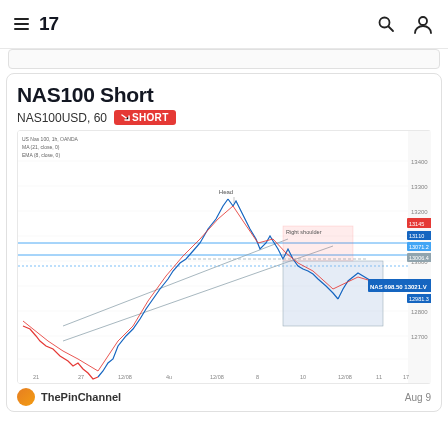TradingView — hamburger menu, logo '17', search icon, user icon
NAS100 Short
NAS100USD, 60  SHORT
[Figure (continuous-plot): TradingView price chart of NAS100USD on 1-hour timeframe showing candlestick price action with head and shoulders pattern labeled 'Head' and 'Right shoulder', moving average lines (MA 21 and EMA 8), support/resistance horizontal lines, an ascending channel, shaded target zone in blue/gray, and price level labels on right axis. Date axis shows dates from ~Jul 21 to Aug 17.]
ThePinChannel
Aug 9